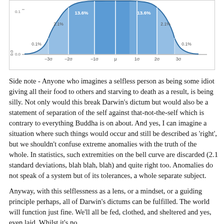[Figure (continuous-plot): Normal distribution bell curve showing standard deviations. X-axis labels: -3σ, -2σ, -1σ, μ, 1σ, 2σ, 3σ. Percentages labeled: 0.1% (outer tails), 2.1% (next sections), 13.6% (sections adjacent to center). Y-axis shows 0.0 to 0.1. The curve is shaded in blue with darker shading toward center.]
Side note - Anyone who imagines a selfless person as being some idiot giving all their food to others and starving to death as a result, is being silly. Not only would this break Darwin's dictum but would also be a statement of separation of the self against that-not-the-self which is contrary to everything Buddha is on about. And yes, I can imagine a situation where such things would occur and still be described as 'right', but we shouldn't confuse extreme anomalies with the truth of the whole. In statistics, such extremities on the bell curve are discarded (2.1 standard deviations, blah blah, blah) and quite right too. Anomalies do not speak of a system but of its tolerances, a whole separate subject.
Anyway, with this selflessness as a lens, or a mindset, or a guiding principle perhaps, all of Darwin's dictums can be fulfilled. The world will function just fine. We'll all be fed, clothed, and sheltered and yes, even laid. Whilst it's no